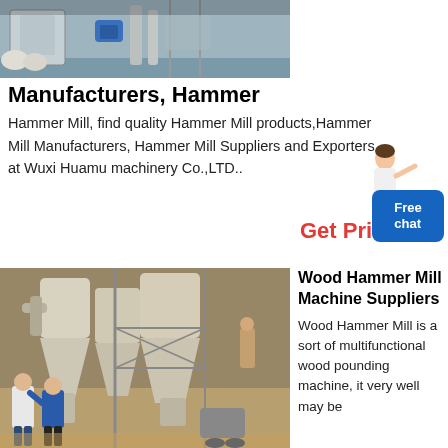[Figure (photo): Industrial hammer mill machinery in a factory setting, showing equipment with bags and blue motor]
Manufacturers, Hammer
Hammer Mill, find quality Hammer Mill products,Hammer Mill Manufacturers, Hammer Mill Suppliers and Exporters at Wuxi Huamu machinery Co.,LTD..
[Figure (illustration): Person (woman) pointing, with blue 'Free chat' badge and red 'Get Price' text]
[Figure (photo): Large wood hammer mill machines with cyclone separators in an industrial warehouse, workers standing in foreground]
Wood Hammer Mill Machine Suppliers
Wood Hammer Mill is a sort of multifunctional wood pounding machine, it very well may be